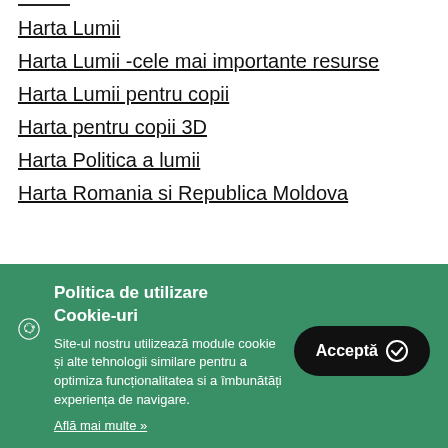Harta Lumii
Harta Lumii -cele mai importante resurse
Harta Lumii pentru copii
Harta pentru copii 3D
Harta Politica a lumii
Harta Romania si Republica Moldova
Politica de utilizare Cookie-uri
Site-ul nostru utilizează module cookie și alte tehnologii similare pentru a optimiza funcționalitatea si a îmbunătăți experiența de navigare.
Află mai multe »